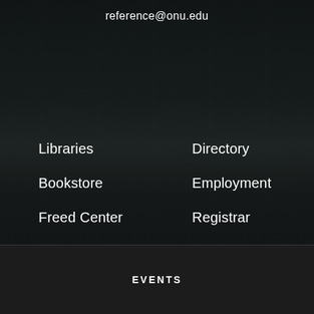reference@onu.edu
Libraries
Directory
Bookstore
Employment
Freed Center
Registrar
Career Services
The Inn
ONU HealthWise Pharmacy
Calendar
EVENTS